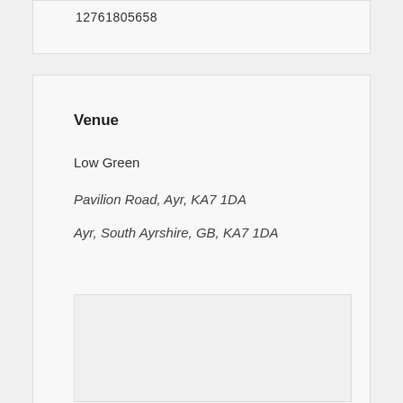12761805658
Venue
Low Green
Pavilion Road, Ayr, KA7 1DA
Ayr, South Ayrshire, GB, KA7 1DA
[Figure (map): Map placeholder showing venue location at Low Green, Pavilion Road, Ayr, KA7 1DA]